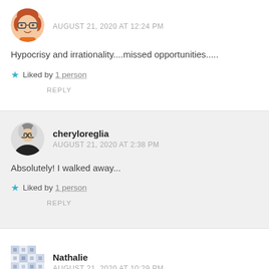AUGUST 21, 2020 AT 12:24 PM
Hypocrisy and irrationality....missed opportunities.....
Liked by 1 person
REPLY
cheryloreglia
AUGUST 21, 2020 AT 2:38 PM
Absolutely! I walked away...
Liked by 1 person
REPLY
Nathalie
AUGUST 21, 2020 AT 10:29 PM